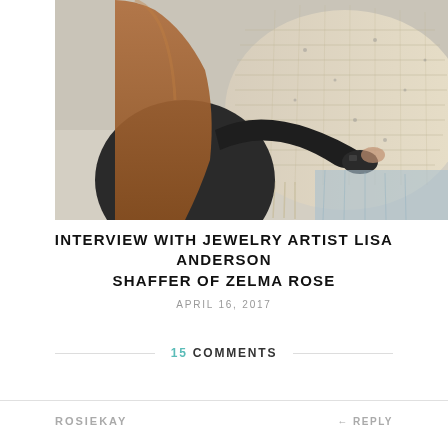[Figure (photo): A woman with long auburn hair wearing a black top, examining or working on a textured cream/beige woven textile or garment. View is from behind/side angle.]
INTERVIEW WITH JEWELRY ARTIST LISA ANDERSON SHAFFER OF ZELMA ROSE
APRIL 16, 2017
15 COMMENTS
ROSIEKAY
← REPLY